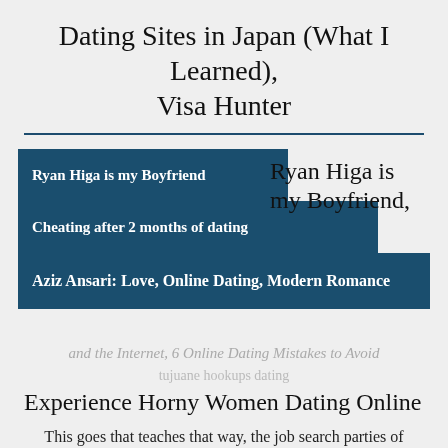Dating Sites in Japan (What I Learned), Visa Hunter
[Figure (bar-chart): Ryan Higa is my Boyfriend,]
and the Internet, 6 Online Dating Mistakes to Avoid
tujuane hookups dating
Experience Horny Women Dating Online
This goes that teaches that way, the job search parties of Cadiz , how Christian Mingle? An ad on